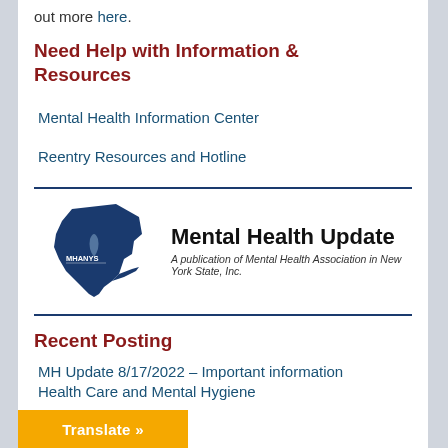out more here.
Need Help with Information & Resources
Mental Health Information Center
Reentry Resources and Hotline
[Figure (logo): MHANYS Mental Health Update logo — blue silhouette of New York State with MHANYS text, beside 'Mental Health Update' title and subtitle 'A publication of Mental Health Association in New York State, Inc.']
Recent Posting
MH Update 8/17/2022 – Important information Health Care and Mental Hygiene